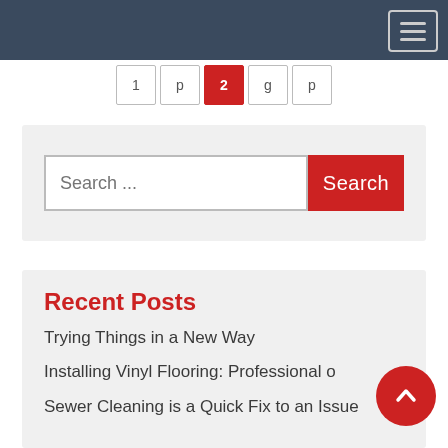Navigation bar with hamburger menu
Pagination: 1 2 (active) 3 4 5
[Figure (screenshot): Search box with text 'Search ...' and red Search button]
Recent Posts
Trying Things in a New Way
Installing Vinyl Flooring: Professional o...
Sewer Cleaning is a Quick Fix to an Issue